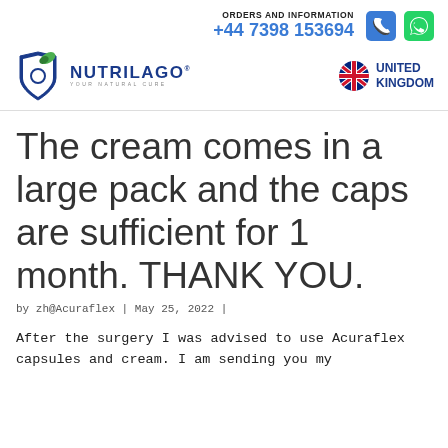ORDERS AND INFORMATION +44 7398 153694
[Figure (logo): Nutrilago logo with shield and capsule icon, tagline 'YOUR NATURAL CURE']
[Figure (logo): UK flag with text UNITED KINGDOM]
The cream comes in a large pack and the caps are sufficient for 1 month. THANK YOU.
by zh@Acuraflex | May 25, 2022 |
After the surgery I was advised to use Acuraflex capsules and cream. I am sending you my feedback because I want to share that